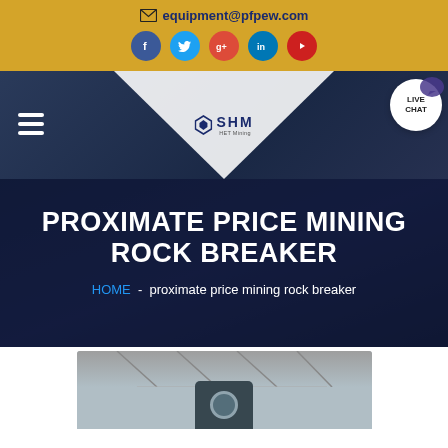equipment@pfpew.com
[Figure (screenshot): Navigation bar with hamburger menu, SHM logo, and LIVE CHAT button]
PROXIMATE PRICE MINING ROCK BREAKER
HOME - proximate price mining rock breaker
[Figure (photo): Industrial facility interior with machinery, showing a mining rock breaker equipment]